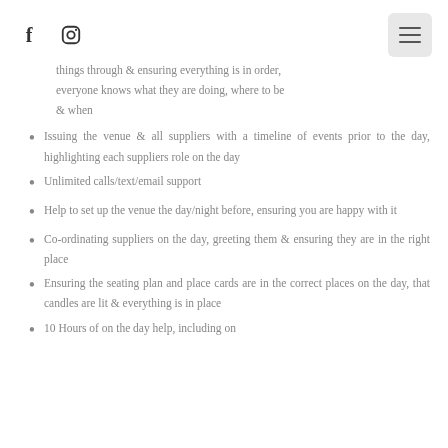[Facebook icon] [Instagram icon] [Menu button]
things through & ensuring everything is in order, everyone knows what they are doing, where to be & when
Issuing the venue & all suppliers with a timeline of events prior to the day, highlighting each suppliers role on the day
Unlimited calls/text/email support
Help to set up the venue the day/night before, ensuring you are happy with it
Co-ordinating suppliers on the day, greeting them & ensuring they are in the right place
Ensuring the seating plan and place cards are in the correct places on the day, that candles are lit & everything is in place
10 Hours of on the day help, including on...